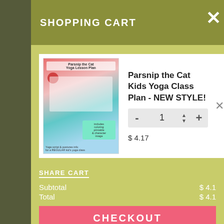SHOPPING CART
[Figure (illustration): Product image for Parsnip the Cat Yoga Lesson Plan — colorful card with a cat, yoga poses, and teal/pink design]
Parsnip the Cat Kids Yoga Class Plan - NEW STYLE!
$ 4.17
SHARE CART
Subtotal  $ 4.1
Total  $ 4.1
CHECKOUT